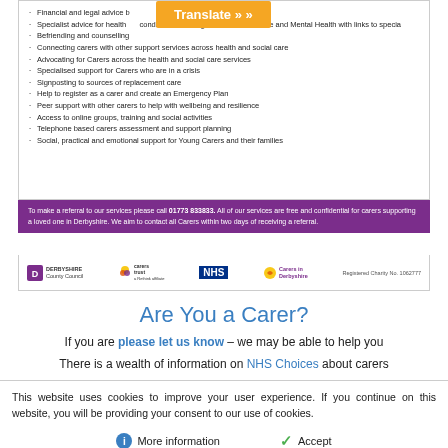Financial and legal advice
Specialist advice for health conditions including Parkinson's disease and Mental Health with links to specialist
Befriending and counselling
Connecting carers with other support services across health and social care
Advocating for Carers across the health and social care services
Specialised support for Carers who are in a crisis
Signposting to sources of replacement care
Help to register as a carer and create an Emergency Plan
Peer support with other carers to help with wellbeing and resilience
Access to online groups, training and social activities
Telephone based carers assessment and support planning
Social, practical and emotional support for Young Carers and their families
To make a referral to our services please call 01773 833833. All of our services are free and confidential for carers supporting a loved one in Derbyshire. We aim to contact all Carers within two days of receiving a referral.
[Figure (logo): Logos: Derbyshire County Council, Carers Trust, NHS, Carers in Derbyshire. Registered Charity No. 1062777]
Are You a Carer?
If you are please let us know – we may be able to help you
There is a wealth of information on NHS Choices about carers
This website uses cookies to improve your user experience. If you continue on this website, you will be providing your consent to our use of cookies.
More information   Accept